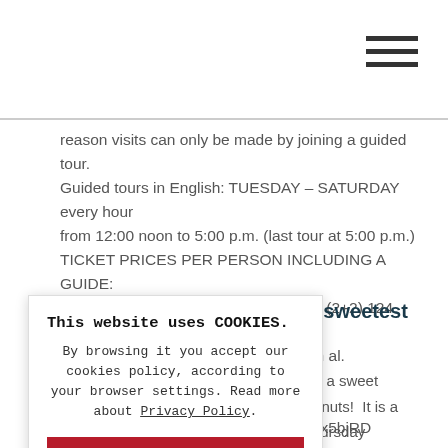[hamburger menu icon]
reason visits can only be made by joining a guided tour. Guided tours in English: TUESDAY – SATURDAY every hour from 12:00 noon to 5:00 p.m. (last tour at 5:00 p.m.) TICKET PRICES PER PERSON INCLUDING A GUIDE: adults 37 PLN, student 31 PLN, family (2+2) 124 PLN Workshop and Stained Glass Museum al. Krasinskiego 23, 31–111 Krakow tel.: +48 512 937 979, info@stainedglass.pl    https://bit.ly/2x5bjRD
ary - the sweetest
e  those with a sweet o nuts for donuts!  It is a g the last Thursday
This website uses COOKIES.
By browsing it you accept our cookies policy, according to your browser settings. Read more about Privacy Policy.
OK, close